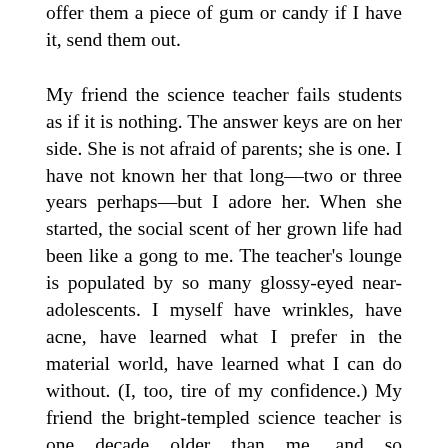offer them a piece of gum or candy if I have it, send them out.
My friend the science teacher fails students as if it is nothing. The answer keys are on her side. She is not afraid of parents; she is one. I have not known her that long—two or three years perhaps—but I adore her. When she started, the social scent of her grown life had been like a gong to me. The teacher's lounge is populated by so many glossy-eyed near-adolescents. I myself have wrinkles, have acne, have learned what I prefer in the material world, have learned what I can do without. (I, too, tire of my confidence.) My friend the bright-templed science teacher is one decade older than me, and so understands these same things about herself, and about me, and sometimes I